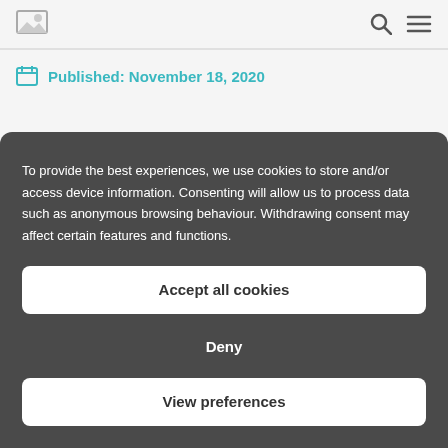[logo icon] [search icon] [menu icon]
Published: November 18, 2020
To provide the best experiences, we use cookies to store and/or access device information. Consenting will allow us to process data such as anonymous browsing behaviour. Withdrawing consent may affect certain features and functions.
Accept all cookies
Deny
View preferences